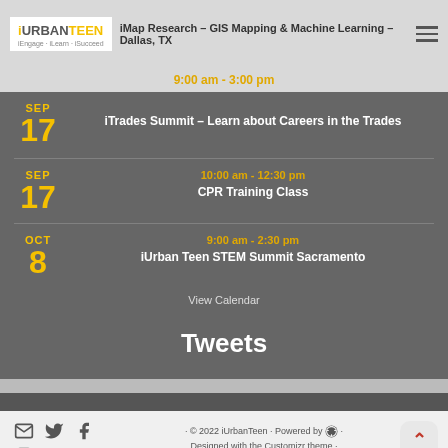iUrbanTeen | iMap Research – GIS Mapping & Machine Learning – Dallas, TX
9:00 am - 3:00 pm
SEP 17 – iTrades Summit – Learn about Careers in the Trades
SEP 17 – 10:00 am - 12:30 pm – CPR Training Class
OCT 8 – 9:00 am - 2:30 pm – iUrban Teen STEM Summit Sacramento
View Calendar
Tweets
© 2022 iUrbanTeen · Powered by WordPress · Designed with the Customizr theme ·